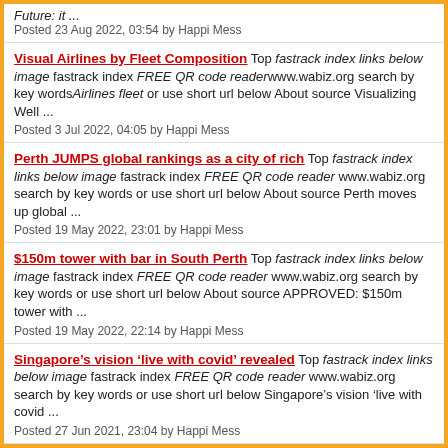Future: it ...
Posted 23 Aug 2022, 03:54 by Happi Mess
Visual Airlines by Fleet Composition Top fastrack index links below image fastrack index FREE QR code readerwww.wabiz.org search by key wordsAirlines fleet or use short url below About source Visualizing Well ...
Posted 3 Jul 2022, 04:05 by Happi Mess
Perth JUMPS global rankings as a city of rich Top fastrack index links below image fastrack index FREE QR code reader www.wabiz.org search by key words or use short url below About source Perth moves up global ...
Posted 19 May 2022, 23:01 by Happi Mess
$150m tower with bar in South Perth Top fastrack index links below image fastrack index FREE QR code reader www.wabiz.org search by key words or use short url below About source APPROVED: $150m tower with ...
Posted 19 May 2022, 22:14 by Happi Mess
Singapore’s vision ‘live with covid’ revealed Top fastrack index links below image fastrack index FREE QR code reader www.wabiz.org search by key words or use short url below Singapore’s vision ‘live with covid ...
Posted 27 Jun 2021, 23:04 by Happi Mess
Showing posts 1 - 5 of 169  View more »